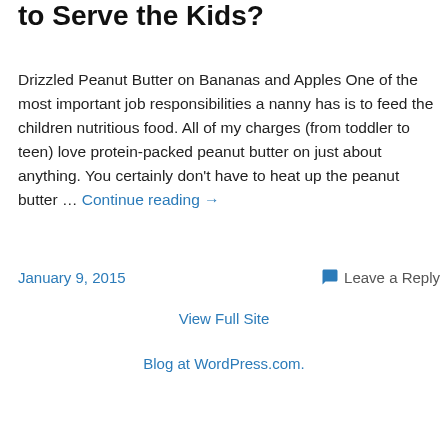to Serve the Kids?
Drizzled Peanut Butter on Bananas and Apples One of the most important job responsibilities a nanny has is to feed the children nutritious food. All of my charges (from toddler to teen) love protein-packed peanut butter on just about anything. You certainly don't have to heat up the peanut butter … Continue reading →
January 9, 2015
Leave a Reply
View Full Site
Blog at WordPress.com.